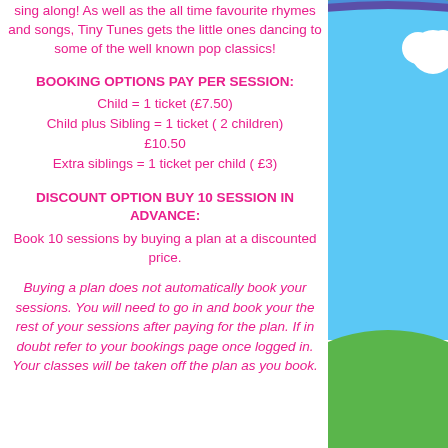sing along! As well as the all time favourite rhymes and songs, Tiny Tunes gets the little ones dancing to some of the well known pop classics!
BOOKING OPTIONS PAY PER SESSION:
Child = 1 ticket (£7.50)
Child plus Sibling = 1 ticket ( 2 children) £10.50
Extra siblings = 1 ticket per child ( £3)
DISCOUNT OPTION BUY 10 SESSION IN ADVANCE:
Book 10 sessions by buying a plan at a discounted price.
Buying a plan does not automatically book your sessions. You will need to go in and book your the rest of your sessions after paying for the plan. If in doubt refer to your bookings page once logged in. Your classes will be taken off the plan as you book.